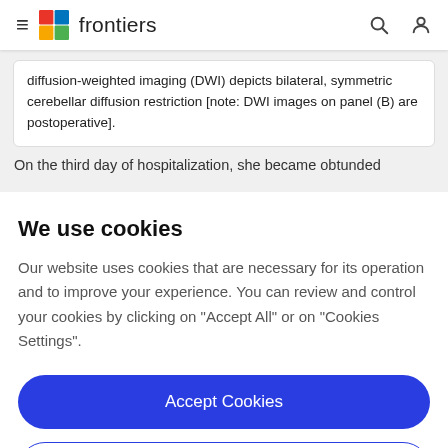frontiers
diffusion-weighted imaging (DWI) depicts bilateral, symmetric cerebellar diffusion restriction [note: DWI images on panel (B) are postoperative].
On the third day of hospitalization, she became obtunded
We use cookies
Our website uses cookies that are necessary for its operation and to improve your experience. You can review and control your cookies by clicking on "Accept All" or on "Cookies Settings".
Accept Cookies
Cookies Settings